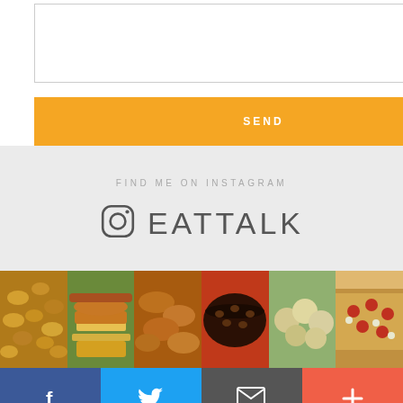[Figure (screenshot): Text area input box with resize handle at bottom right]
SEND
FIND ME ON INSTAGRAM
EATTALK
[Figure (photo): Strip of 6 food photos: tater tots, fried chicken sandwich, glazed chicken wings, chocolate pecan cake, roasted cauliflower, pizza]
[Figure (infographic): Social media bar with Facebook, Twitter, Email, and Plus buttons]